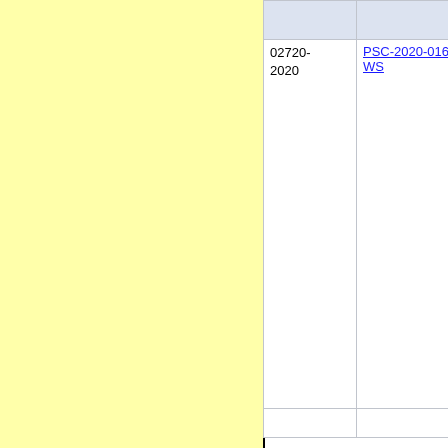|  |  |
| --- | --- |
| 02720-2020 | PSC-2020-0168-WS |
|  |  |